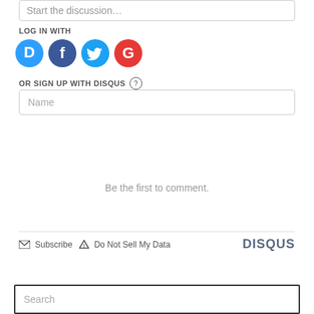Start the discussion...
LOG IN WITH
[Figure (infographic): Four social login icons: Disqus (blue circle with D), Facebook (dark blue circle with F), Twitter (light blue circle with bird), Google (red circle with G)]
OR SIGN UP WITH DISQUS ?
Name
Be the first to comment.
Subscribe  Do Not Sell My Data  DISQUS
Search